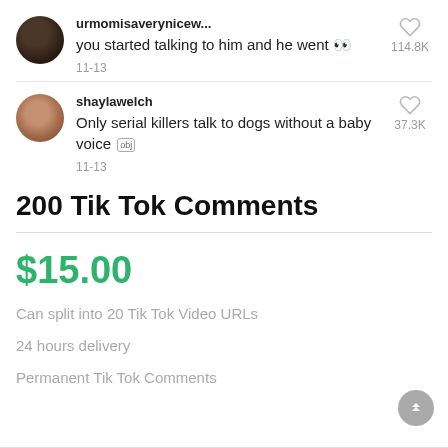[Figure (screenshot): TikTok comment by urmomisaverynicew... saying 'you started talking to him and he went 👀' with 114.8K likes, dated 11-13]
[Figure (screenshot): TikTok comment by shaylawelch saying 'Only serial killers talk to dogs without a baby voice [OBJ]' with 37.3K likes, dated 11-13]
200 Tik Tok Comments
$15.00
Can split into 20 Tik Tok Video URLs
24 hours delivery
Permanent Tik Tok Comments